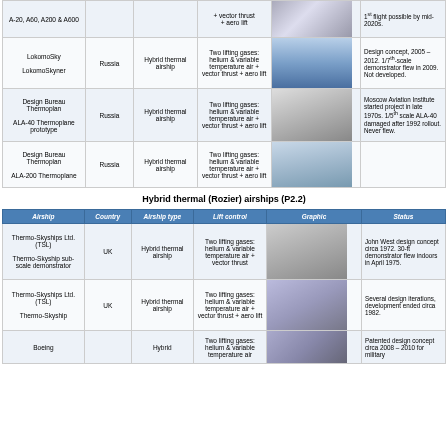| Airship | Country | Airship type | Lift control | Graphic | Status |
| --- | --- | --- | --- | --- | --- |
| A-20, A60, A200 & A600 |  |  | + vector thrust + aero lift | [image] | 1st flight possible by mid-2020s. |
| LokomoSky
LokomoSkyner | Russia | Hybrid thermal airship | Two lifting gases: helium & variable temperature air + vector thrust + aero lift | [image] | Design concept, 2005 – 2012. 1/7th-scale demonstrator flew in 2009. Not developed. |
| Design Bureau Thermoplan
ALA-40 Thermoplane prototype | Russia | Hybrid thermal airship | Two lifting gases: helium & variable temperature air + vector thrust + aero lift | [image] | Moscow Aviation Institute started project in late 1970s. 1/5th scale ALA-40 damaged after 1992 rollout. Never flew. |
| Design Bureau Thermoplan
ALA-200 Thermoplane | Russia | Hybrid thermal airship | Two lifting gases: helium & variable temperature air + vector thrust + aero lift | [image] |  |
Hybrid thermal (Rozier) airships (P2.2)
| Airship | Country | Airship type | Lift control | Graphic | Status |
| --- | --- | --- | --- | --- | --- |
| Thermo-Skyships Ltd. (TSL)
Thermo-Skyship sub-scale demonstrator | UK | Hybrid thermal airship | Two lifting gases: helium & variable temperature air + vector thrust | [image] | John West design concept circa 1972. 30-ft demonstrator flew indoors in April 1975. |
| Thermo-Skyships Ltd. (TSL)
Thermo-Skyship | UK | Hybrid thermal airship | Two lifting gases: helium & variable temperature air + vector thrust + aero lift | [image] | Several design iterations, development ended circa 1982. |
| Boeing |  | Hybrid | Two lifting gases: helium & variable temperature air | [image] | Patented design concept circa 2008 – 2010 for military |